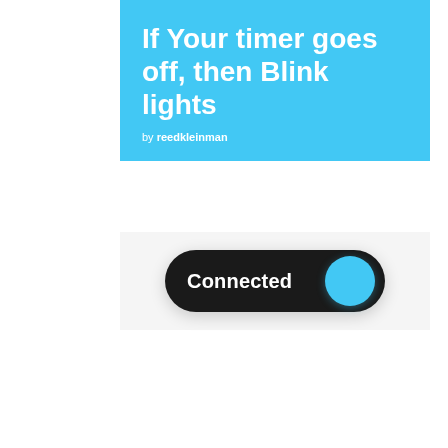If Your timer goes off, then Blink lights
by reedkleinman
[Figure (screenshot): A toggle switch UI element showing 'Connected' in white text on a black pill-shaped button with a cyan/light blue circle on the right side indicating the on/active state.]